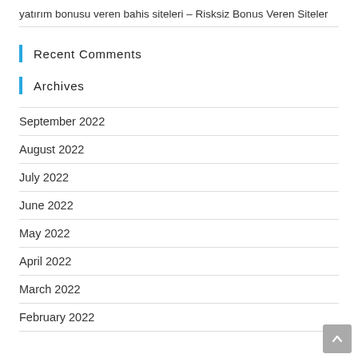yatırım bonusu veren bahis siteleri – Risksiz Bonus Veren Siteler
Recent Comments
Archives
September 2022
August 2022
July 2022
June 2022
May 2022
April 2022
March 2022
February 2022